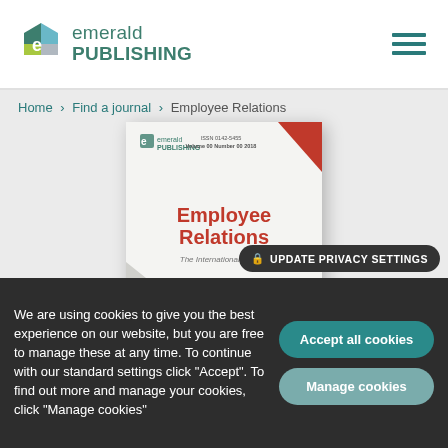[Figure (logo): Emerald Publishing logo with hexagonal icon and text]
Home › Find a journal › Employee Relations
[Figure (photo): Employee Relations journal cover — shows Emerald Publishing logo, ISSN 0142-5455, Volume 00 Number 00 2018, title Employee Relations in red, subtitle The International Journal, with colorful network diagram on lower portion]
UPDATE PRIVACY SETTINGS
We are using cookies to give you the best experience on our website, but you are free to manage these at any time. To continue with our standard settings click "Accept". To find out more and manage your cookies, click "Manage cookies"
Accept all cookies
Manage cookies